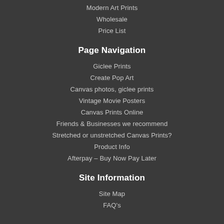Modern Art Prints
Wholesale
Price List
Page Navigation
Giclee Prints
Create Pop Art
Canvas photos, giclee prints
Vintage Movie Posters
Canvas Prints Online
Friends & Businesses we recommend
Stretched or unstretched Canvas Prints?
Product Info
Afterpay – Buy Now Pay Later
Site Information
Site Map
FAQ's